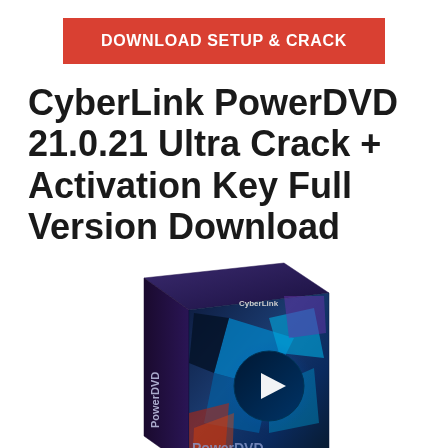[Figure (other): Red download button with white bold text reading DOWNLOAD SETUP & CRACK]
CyberLink PowerDVD 21.0.21 Ultra Crack + Activation Key Full Version Download
[Figure (photo): CyberLink PowerDVD software box with dark blue and teal geometric design, featuring the PowerDVD logo and a play button icon]